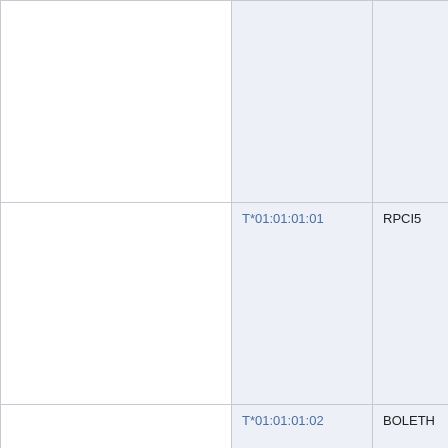|  |  |  |
| T*01:01:01:01 | RPCI5 |  |
| T*01:01:01:02 | BOLETH |  |
| T*01:01:01:02 | DBB |  |